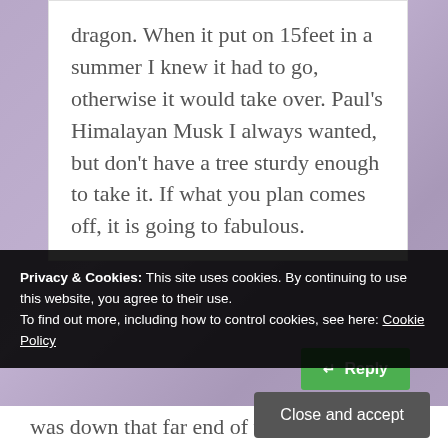dragon. When it put on 15feet in a summer I knew it had to go, otherwise it would take over. Paul’s Himalayan Musk I always wanted, but don’t have a tree sturdy enough to take it. If what you plan comes off, it is going to fabulous.
Reply
Privacy & Cookies: This site uses cookies. By continuing to use this website, you agree to their use.
To find out more, including how to control cookies, see here: Cookie Policy
Close and accept
was down that far end of the